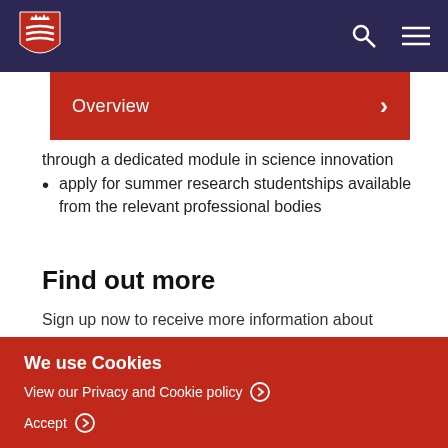Middlesex University header with logo, search and menu icons
Overview
through a dedicated module in science innovation
apply for summer research studentships available from the relevant professional bodies
Find out more
Sign up now to receive more information about
We use Cookies
View our Privacy and Cookie policy
Accept